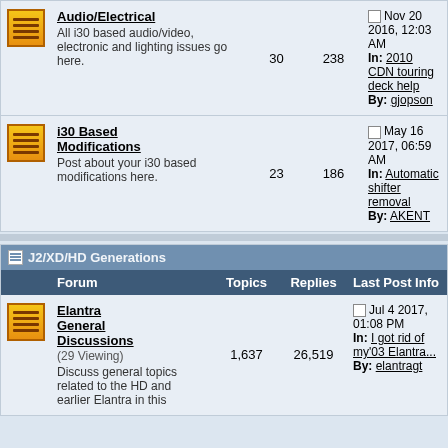| Forum | Topics | Replies | Last Post Info |
| --- | --- | --- | --- |
| Audio/Electrical
All i30 based audio/video, electronic and lighting issues go here. | 30 | 238 | Nov 20 2016, 12:03 AM
In: 2010 CDN touring deck help
By: gjopson |
| i30 Based Modifications
Post about your i30 based modifications here. | 23 | 186 | May 16 2017, 06:59 AM
In: Automatic shifter removal
By: AKENT |
J2/XD/HD Generations
| Forum | Topics | Replies | Last Post Info |
| --- | --- | --- | --- |
| Elantra General Discussions (29 Viewing)
Discuss general topics related to the HD and earlier Elantra in this | 1,637 | 26,519 | Jul 4 2017, 01:08 PM
In: I got rid of my'03 Elantra...
By: elantragt |